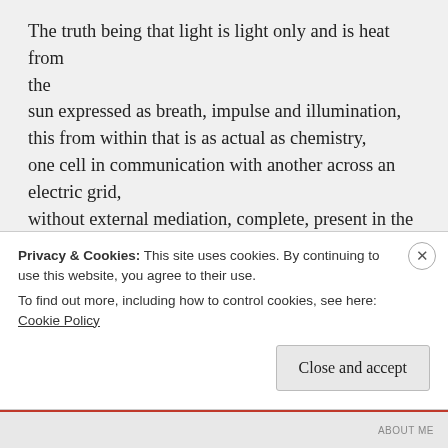The truth being that light is light only and is heat from the
sun expressed as breath, impulse and illumination,
this from within that is as actual as chemistry,
one cell in communication with another across an electric grid,
without external mediation, complete, present in the conviction
that what is seen is what is real.

And so, with these struggles, we still made it to the top of
Putney mountain, and saw the valley and the green tops
Privacy & Cookies: This site uses cookies. By continuing to use this website, you agree to their use.
To find out more, including how to control cookies, see here: Cookie Policy
Close and accept